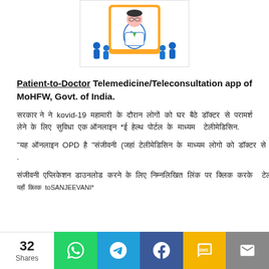[Figure (illustration): Illustration of a doctor in white coat with stethoscope on a tablet/screen, with small figures of people on either side, representing a telemedicine app.]
Patient-to-Doctor Telemedicine/Teleconsultation app of MoHFW, Govt. of India.
सरकार ने kovid-19 महामारी के दौरान लोगों को घर बैठे डॉक्टर से परामर्श लेने की सुविधा दी है।
"यह ऑनलाइन OPD है "संजीवनी (जहां टेलीमेडिसिन के माध्यम से डॉक्टर से परामर्श किया जा सकता है) .
संजीवनी एप्लिकेशन डाउनलोड करने के लिए निम्नलिखित लिंक का उपयोग करें toSANJEEVANI*
32 Shares